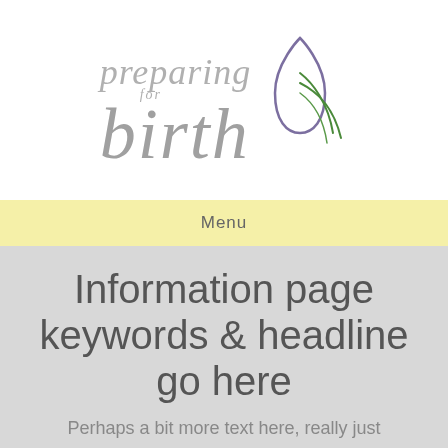[Figure (logo): Preparing for Birth logo with stylized leaf/teardrop icon in purple and green, text in light gray italic serif font]
Menu
Information page keywords & headline go here
Perhaps a bit more text here, really just